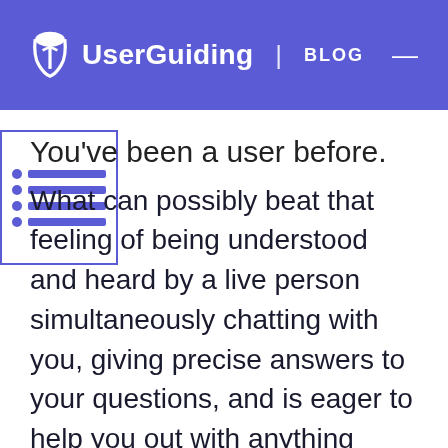UserGuiding | BLOG
You've been a user before.
[Figure (other): Table of contents overlay icon with blue bullet points and lines]
What can possibly beat that feeling of being understood and heard by a live person simultaneously chatting with you, giving precise answers to your questions, and is eager to help you out with anything that’s bugging you? Not much, I suppose.
Offering this kind of interactive service will provide your users with a pleasant, positive website experience. Alongside easy navigation, speedy loadings, and helpful content, you can be sure that...